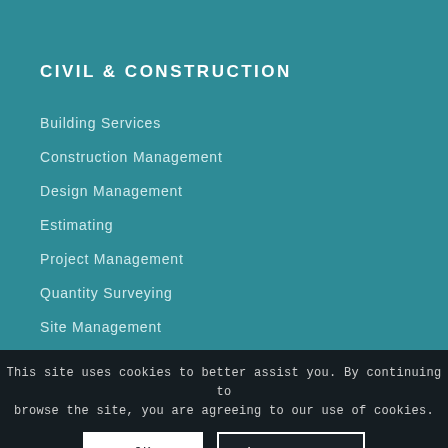CIVIL & CONSTRUCTION
Building Services
Construction Management
Design Management
Estimating
Project Management
Quantity Surveying
Site Management
Site Foremen
Environmental & Water
Geotechnical
Structural...
Transportation
This site uses cookies to better assist you. By continuing to browse the site, you are agreeing to our use of cookies.
OK
Learn more